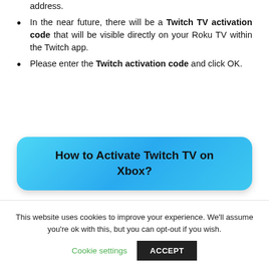address.
In the near future, there will be a Twitch TV activation code that will be visible directly on your Roku TV within the Twitch app.
Please enter the Twitch activation code and click OK.
[Figure (infographic): Blue rounded rectangle banner with text: How to Activate Twitch TV on Xbox?]
[Figure (screenshot): Bottom portion of a screenshot showing a dark/black Twitch app interface with the Twitch logo in white on black background.]
This website uses cookies to improve your experience. We'll assume you're ok with this, but you can opt-out if you wish.
Cookie settings   ACCEPT